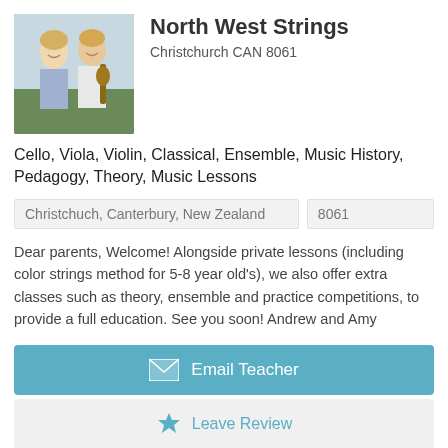[Figure (photo): Photo of two musicians (a woman and a man) holding string instruments, smiling outdoors]
North West Strings
Christchurch CAN 8061
Cello, Viola, Violin, Classical, Ensemble, Music History, Pedagogy, Theory, Music Lessons
Christchuch, Canterbury, New Zealand
8061
Dear parents, Welcome! Alongside private lessons (including color strings method for 5-8 year old's), we also offer extra classes such as theory, ensemble and practice competitions, to provide a full education. See you soon! Andrew and Amy
Email Teacher
Leave Review
[Figure (photo): Black and white headshot photo of Rob Fleming]
Rob Fleming
New Plymouth TKI 4310